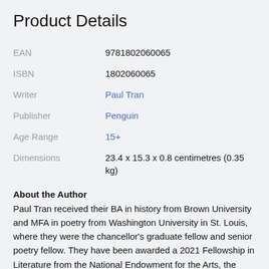Product Details
| Label | Value |
| --- | --- |
| EAN | 9781802060065 |
| ISBN | 1802060065 |
| Writer | Paul Tran |
| Publisher | Penguin |
| Age Range | 15+ |
| Dimensions | 23.4 x 15.3 x 0.8 centimetres (0.35 kg) |
About the Author
Paul Tran received their BA in history from Brown University and MFA in poetry from Washington University in St. Louis, where they were the chancellor's graduate fellow and senior poetry fellow. They have been awarded a 2021 Fellowship in Literature from the National Endowment for the Arts, the Ruth Lilly and Dorothy Sargent Rosenberg Fellowship from the Poetry Foundation and the Discovery/Boston Review Poetry Prize. Currently a Wallace Stegner fellow at Stanford University, Paul's work appears in The New Yorker, Poetry and elsewhere.